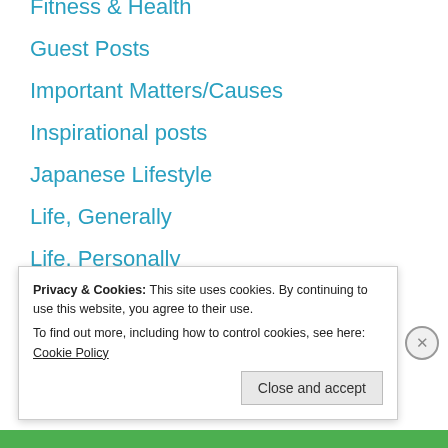Fitness & Health
Guest Posts
Important Matters/Causes
Inspirational posts
Japanese Lifestyle
Life, Generally
Life, Personally
Love
Motivational posts
NaNoWriMo
Privacy & Cookies: This site uses cookies. By continuing to use this website, you agree to their use. To find out more, including how to control cookies, see here: Cookie Policy
Close and accept